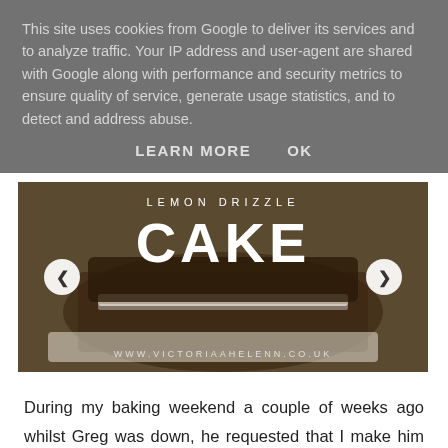This site uses cookies from Google to deliver its services and to analyze traffic. Your IP address and user-agent are shared with Google along with performance and security metrics to ensure quality of service, generate usage statistics, and to detect and address abuse.
LEARN MORE   OK
[Figure (photo): Lemon Drizzle Cake blog post slideshow image showing slices of chocolate/brown cake with white cream filling on a white plate, with navigation arrows. Text overlay reads 'LEMON DRIZZLE' and 'CAKE' and 'WWW.VICTORIAAHELENN.CO.UK'.]
During my baking weekend a couple of weeks ago whilst Greg was down, he requested that I make him lemon drizzle cake as it's his favourite cake. It gave me something to bake, and I also